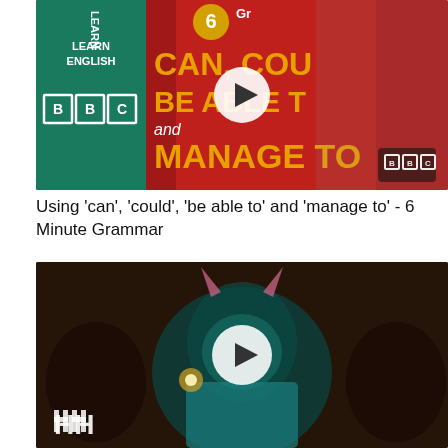[Figure (screenshot): BBC 6 Minute Grammar video thumbnail showing a man with headphones at a radio microphone, with text 'CAN, COULD, BE ABLE TO and MANAGE TO' on a red BBC Learn English background. A white play button circle is overlaid in the center.]
Using 'can', 'could', 'be able to' and 'manage to' - 6 Minute Grammar
[Figure (screenshot): Dark video thumbnail showing a person wearing devil horns in a dimly lit scene with a white play button overlay in the center, and a white HH logo in the bottom left.]